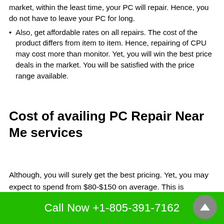market, within the least time, your PC will repair. Hence, you do not have to leave your PC for long.
Also, get affordable rates on all repairs. The cost of the product differs from item to item. Hence, repairing of CPU may cost more than monitor. Yet, you will win the best price deals in the market. You will be satisfied with the price range available.
Cost of availing PC Repair Near Me services
Although, you will surely get the best pricing. Yet, you may expect to spend from $80-$150 on average. This is calculated based on basic and common problems. Screen cracking, connection issues, fixing faults, and CPU
Call Now +1-805-391-7162